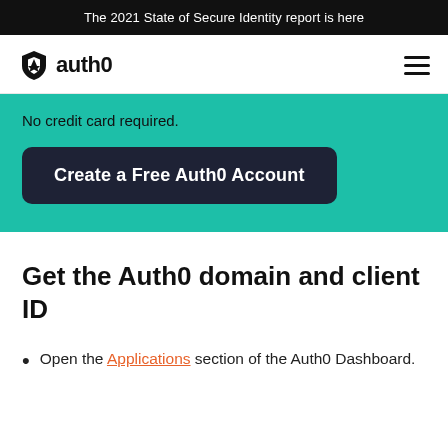The 2021 State of Secure Identity report is here
[Figure (logo): Auth0 logo with shield icon and text 'auth0']
No credit card required.
Create a Free Auth0 Account
Get the Auth0 domain and client ID
Open the Applications section of the Auth0 Dashboard.